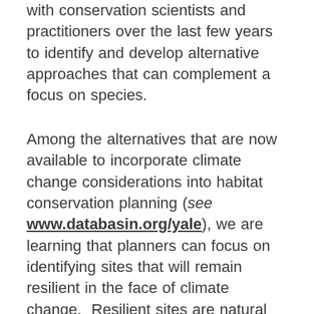with conservation scientists and practitioners over the last few years to identify and develop alternative approaches that can complement a focus on species.
Among the alternatives that are now available to incorporate climate change considerations into habitat conservation planning (see www.databasin.org/yale), we are learning that planners can focus on identifying sites that will remain resilient in the face of climate change.  Resilient sites are natural places predicted to withstand the growing impact of climate change and offer refuge to a diverse array of plants and